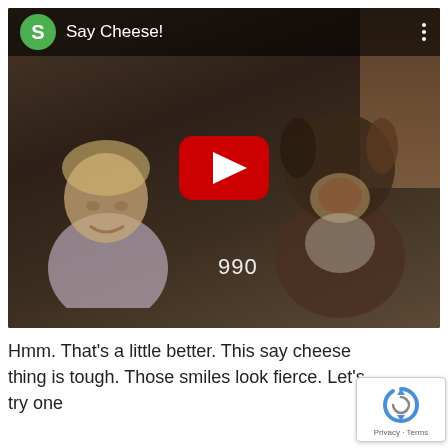[Figure (screenshot): YouTube video thumbnail/player showing a child and a dog sitting together, with 'Say Cheese!' as the video title in a dark overlay header with a green 'S' channel icon. A red YouTube play button is centered over the image. A timestamp showing '990' is visible at the bottom of the video frame.]
Hmm. That's a little better. This say cheese thing is tough. Those smiles look fierce. Let's try one